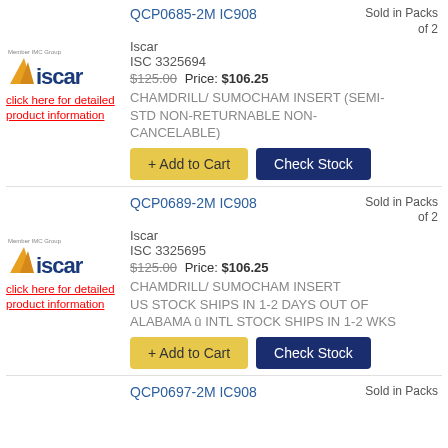QCP0685-2M IC908 — Sold in Packs of 2
Iscar
ISC 3325694
$125.00 Price: $106.25
[Figure (logo): Iscar logo with Member IMC Group text]
click here for detailed product information
CHAMDRILL/ SUMOCHAM INSERT (SEMI-STD NON-RETURNABLE NON-CANCELABLE)
+ Add to Cart
Check Stock
QCP0689-2M IC908 — Sold in Packs of 2
Iscar
ISC 3325695
$125.00 Price: $106.25
[Figure (logo): Iscar logo with Member IMC Group text]
click here for detailed product information
CHAMDRILL/ SUMOCHAM INSERT US STOCK SHIPS IN 1-2 DAYS OUT OF ALABAMA û INTL STOCK SHIPS IN 1-2 WKS
+ Add to Cart
Check Stock
QCP0697-2M IC908 — Sold in Packs